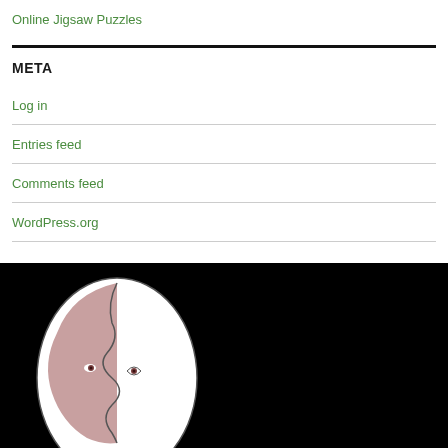Online Jigsaw Puzzles
META
Log in
Entries feed
Comments feed
WordPress.org
[Figure (logo): A stylized dual-face logo (two overlapping face profiles, one white and one pinkish/shaded) on a black background]